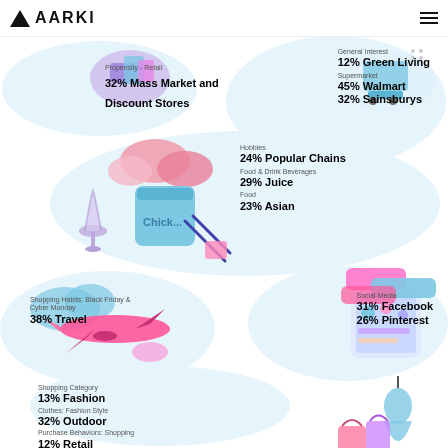AARKI
Propensity - Retail
32% Mass Market and Discount Stores
General Interest
12% Green Living
Supermarket
45% Walmart
32% Sainsburys
Hobbies
24% Popular Chains
Food & Drink Beverages
29% Juice
Food
23% Asian
Shopping Habits: Black Friday & Cyber Monday
38% Travel
Social Media
31% Facebook
26% Pinterest
Shopping Category
13% Fashion
Clothes: Fashion Style
32% Outdoor
Purchase Behaviors: Shopping
12% Retail